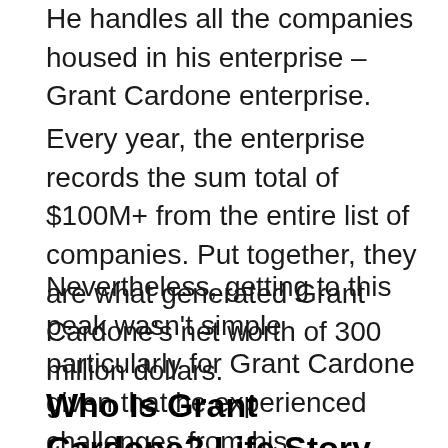He handles all the companies housed in his enterprise – Grant Cardone enterprise.
Every year, the enterprise records the sum total of $100M+ from the entire list of companies. Put together, they are what generated Grant Cardone's net worth of 300 million dollars.
Nevertheless, getting to this peak wasn't simple particularly for Grant Cardone given that he experienced challenges from his background and his starting profession.
Who Is Grant Cardone? Life Story and Wikipedia